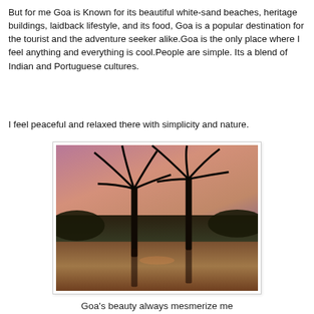But for me Goa is Known for its beautiful white-sand beaches, heritage buildings, laidback lifestyle, and its food, Goa is a popular destination for the tourist and the adventure seeker alike.Goa is the only place where I feel anything and everything is cool.People are simple. Its a blend of Indian and Portuguese cultures.
I feel peaceful and relaxed there with simplicity and nature.
[Figure (photo): A sunset photo showing two palm tree silhouettes against a pink and orange sky, with a water reflection in the foreground and dark tropical vegetation in the middle ground.]
Goa's beauty always mesmerize me